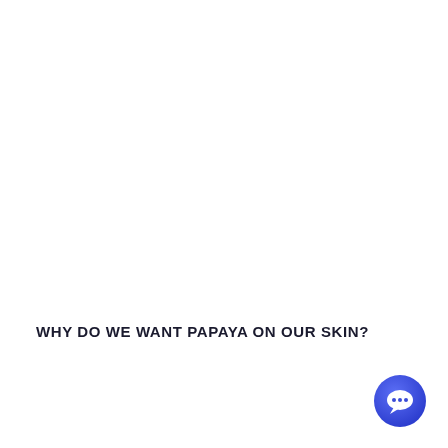WHY DO WE WANT PAPAYA ON OUR SKIN?
[Figure (illustration): Blue circular chat bubble icon in the bottom-right corner]